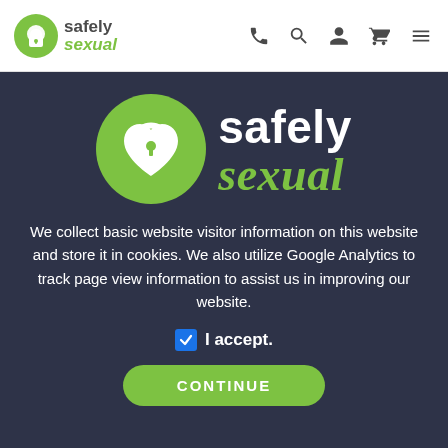[Figure (logo): Safely Sexual logo in navigation bar — green circle with white heart padlock icon, 'safely' in dark gray bold, 'sexual' in green italic]
[Figure (logo): Safely Sexual large centered logo — green circle with white heart padlock SVG icon, 'safely' in white bold large text, 'sexual' in green italic large text]
We collect basic website visitor information on this website and store it in cookies. We also utilize Google Analytics to track page view information to assist us in improving our website.
I accept.
CONTINUE